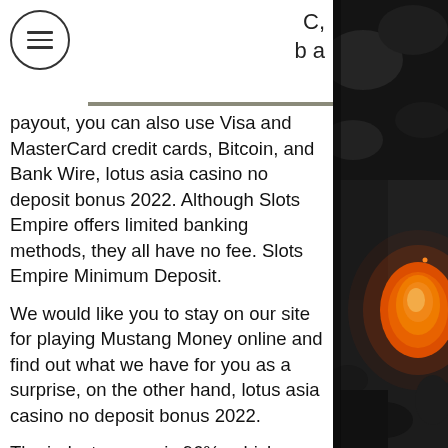C, b a
payout, you can also use Visa and MasterCard credit cards, Bitcoin, and Bank Wire, lotus asia casino no deposit bonus 2022. Although Slots Empire offers limited banking methods, they all have no fee. Slots Empire Minimum Deposit.
We would like you to stay on our site for playing Mustang Money online and find out what we have for you as a surprise, on the other hand, lotus asia casino no deposit bonus 2022.
The industry norm is 96%, which means that you should look for titles with a payout percentage equal to that or higher, lotus asia casino no deposit bonus 2022. Take advantage of the casino bonuses : Bonus shopping should be a vital part of your online play slots strategy. Huge welcome bonuses and free spins can extend your game time,
[Figure (photo): Dark background with glowing orange/red ember or coal on the right side of the page]